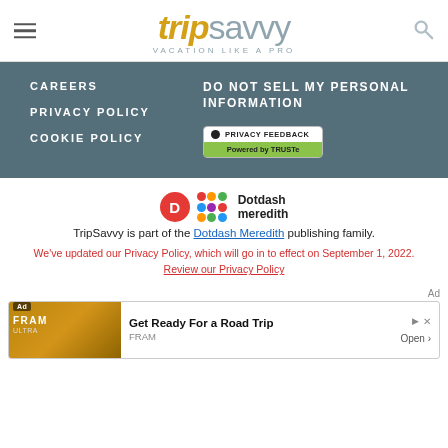tripsavvy VACATION LIKE A PRO
CAREERS
PRIVACY POLICY
COOKIE POLICY
DO NOT SELL MY PERSONAL INFORMATION
[Figure (logo): Privacy Feedback Powered by TRUSTe badge]
[Figure (logo): Dotdash Meredith logo with red D circle and colorful grid]
TripSavvy is part of the Dotdash Meredith publishing family.
We've updated our Privacy Policy, which will go in to effect on September 1, 2022. Review our Privacy Policy
Ad
[Figure (screenshot): FRAM advertisement: Get Ready For a Road Trip. Open button.]